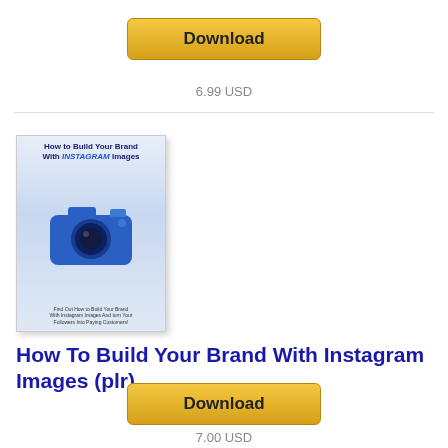[Figure (other): Download button (gold/yellow rounded rectangle)]
6.99 USD
[Figure (illustration): Book cover: How To Build Your Brand With Instagram Images, blue camera illustration]
How To Build Your Brand With Instagram Images (plr)
How To Build Your Brand With Instagram Images! In record time, Instagram has been able to absolutely explode into one of...
[Figure (other): Download button (gold/yellow rounded rectangle)]
7.00 USD